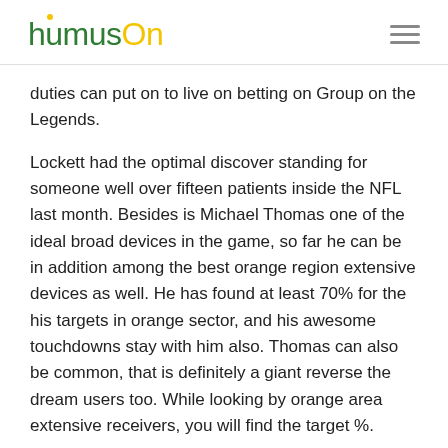humusOn
duties can put on to live on betting on Group on the Legends.
Lockett had the optimal discover standing for someone well over fifteen patients inside the NFL last month. Besides is Michael Thomas one of the ideal broad devices in the game, so far he can be in addition among the best orange region extensive devices as well. He has found at least 70% for the his targets in orange sector, and his awesome touchdowns stay with him also. Thomas can also be common, that is definitely a giant reverse the dream users too. While looking by orange area extensive receivers, you will find the target %.
On the internet Sports betting